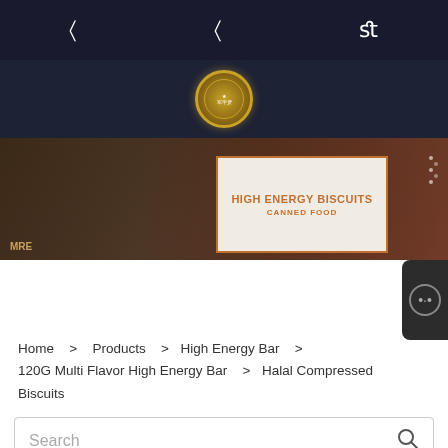Navigation bar with menu icons
[Figure (logo): Circular gold logo badge with Chinese characters and star emblem on dark navy background]
[Figure (photo): Hero banner showing MRE and High Energy Biscuits food products with tomatoes on dark wood background. Text reads: HIGH ENERGY BISCUITS, CANNED FOOD]
Home > Products > High Energy Bar > 120G Multi Flavor High Energy Bar > Halal Compressed Biscuits
Search